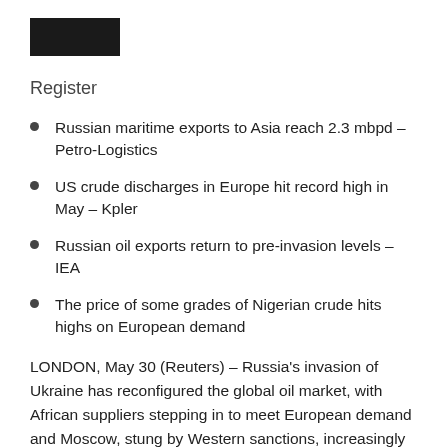[Figure (logo): Solid dark/black rectangular logo block]
Register
Russian maritime exports to Asia reach 2.3 mbpd – Petro-Logistics
US crude discharges in Europe hit record high in May – Kpler
Russian oil exports return to pre-invasion levels – IEA
The price of some grades of Nigerian crude hits highs on European demand
LONDON, May 30 (Reuters) – Russia's invasion of Ukraine has reconfigured the global oil market, with African suppliers stepping in to meet European demand and Moscow, stung by Western sanctions, increasingly exploiting risky ship-to-ship transfers to get its crude to